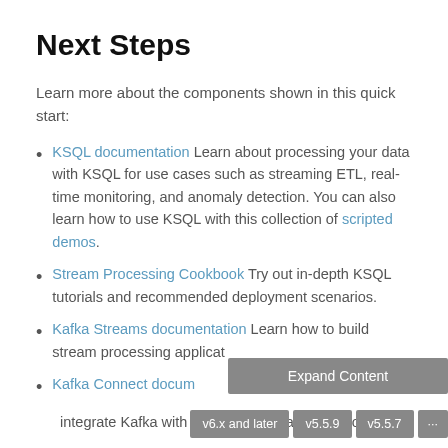Next Steps
Learn more about the components shown in this quick start:
KSQL documentation Learn about processing your data with KSQL for use cases such as streaming ETL, real-time monitoring, and anomaly detection. You can also learn how to use KSQL with this collection of scripted demos.
Stream Processing Cookbook Try out in-depth KSQL tutorials and recommended deployment scenarios.
Kafka Streams documentation Learn how to build stream processing applications...
Kafka Connect documentation ... integrate Kafka with other systems and download...